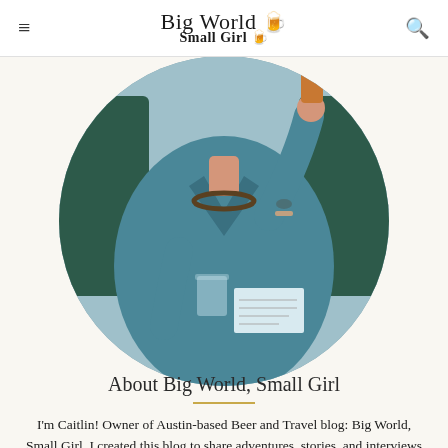Big World Small Girl
[Figure (photo): Circular cropped photo of a woman in a teal/blue ribbed wrap sweater holding up a glass of amber beer, with a chain necklace, seated at a wood table with a menu and empty glass, dark green booth seating in background.]
About Big World, Small Girl
I'm Caitlin! Owner of Austin-based Beer and Travel blog: Big World, Small Girl. I created this blog to share adventures, stories, and interviews from your favorite breweries and drinks to inspire your own beercation.